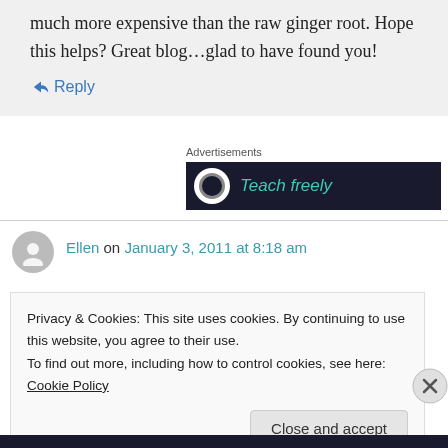much more expensive than the raw ginger root. Hope this helps? Great blog…glad to have found you!
↳ Reply
Advertisements
[Figure (other): Dark advertisement banner with white circle icon and teal text reading 'Teach freely']
Ellen on January 3, 2011 at 8:18 am
Privacy & Cookies: This site uses cookies. By continuing to use this website, you agree to their use.
To find out more, including how to control cookies, see here: Cookie Policy
Close and accept